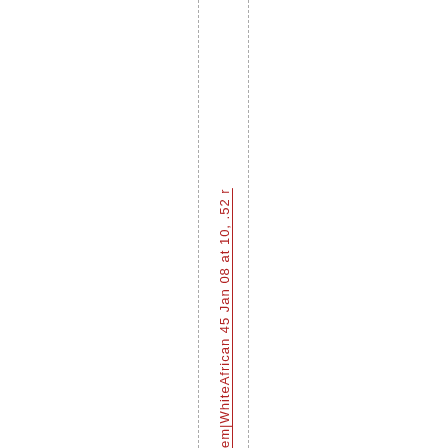em|WhiteAfrican 45 Jan 08 at 10, .52 r